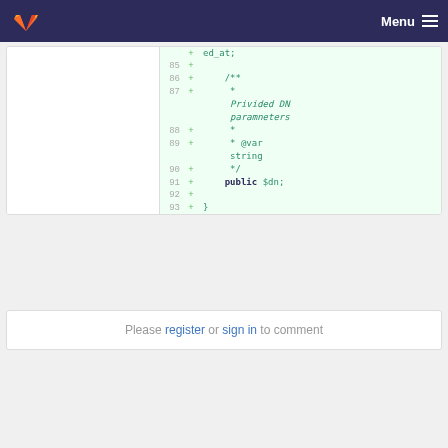GitLab — Menu
[Figure (screenshot): Code diff view showing added lines 85-93 with PHP code including a docblock comment for 'Privided DN paramneters' with @var string annotation and public $dn property]
Please register or sign in to comment